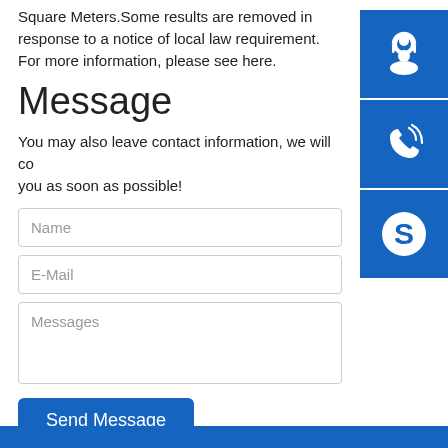Square Meters.Some results are removed in response to a notice of local law requirement. For more information, please see here.
Message
You may also leave contact information, we will contact you as soon as possible!
[Figure (illustration): Blue square button with white headset/customer support icon]
[Figure (illustration): Blue square button with white phone/call icon]
[Figure (illustration): Blue square button with white Skype logo icon]
Name
E-Mail
Messages
Send Message